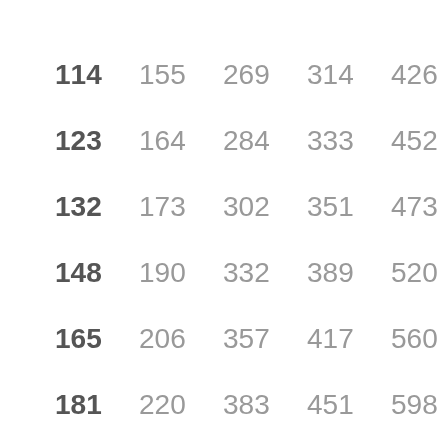| 114 | 155 | 269 | 314 | 426 |
| 123 | 164 | 284 | 333 | 452 |
| 132 | 173 | 302 | 351 | 473 |
| 148 | 190 | 332 | 389 | 520 |
| 165 | 206 | 357 | 417 | 560 |
| 181 | 220 | 383 | 451 | 598 |
| 198 | 237 | 412 | 474 | 630 |